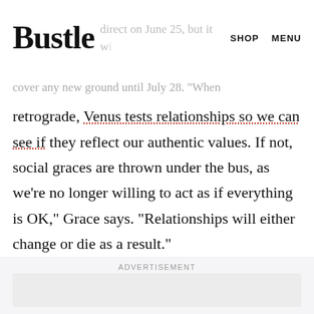Bustle  SHOP  MENU
to love," has been retrograde since May. According to
cover any new ground until July 28. "When retrograde, Venus tests relationships so we can see if they reflect our authentic values. If not, social graces are thrown under the bus, as we're no longer willing to act as if everything is OK," Grace says. "Relationships will either change or die as a result."
ADVERTISEMENT